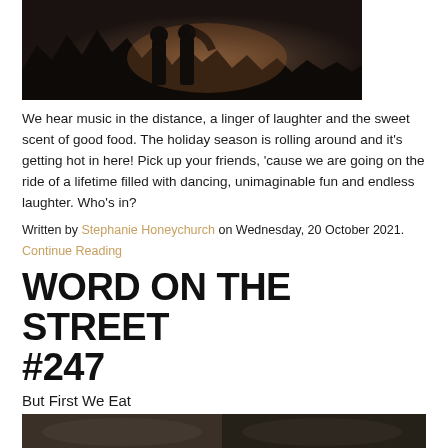[Figure (photo): Dark moody photo of two people outdoors at dusk with trees in background]
We hear music in the distance, a linger of laughter and the sweet scent of good food. The holiday season is rolling around and it's getting hot in here! Pick up your friends, 'cause we are going on the ride of a lifetime filled with dancing, unimaginable fun and endless laughter. Who's in?
Written by Stephanie Honeychurch on Wednesday, 20 October 2021.
Continue Reading
WORD ON THE STREET #247
But First We Eat
[Figure (photo): Partial photo at bottom of page showing food or people]